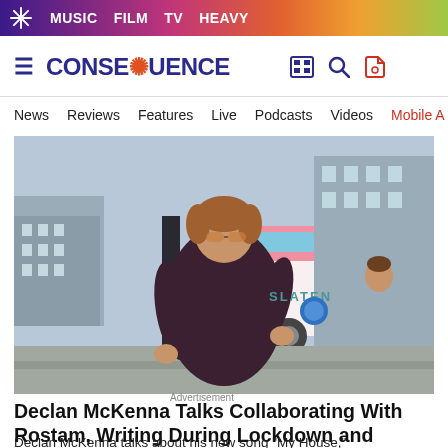MUSIC  FILM  TV  HEAVY
CONSEQUENCE
News   Reviews   Features   Live   Podcasts   Videos   Mobile A
[Figure (photo): Declan McKenna wearing sunglasses and a dark robe/jacket, crouching in front of a pink and white ice cream van on a street]
Declan McKenna Talks Collaborating With Rostam, Writing During Lockdown and Returning to Live Shows After a "Very Intense Year"
Declan McKenna talks about his new song "My House,"